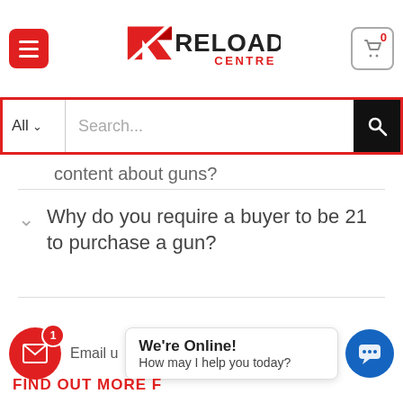Reload Centre – FAQ page header with menu, logo, and cart
Search...
content about guns?
Why do you require a buyer to be 21 to purchase a gun?
What are your payment methods?
How can I change/add/cancel my order?
Email u... We're Online! How may I help you today?
FIND OUT MORE F...